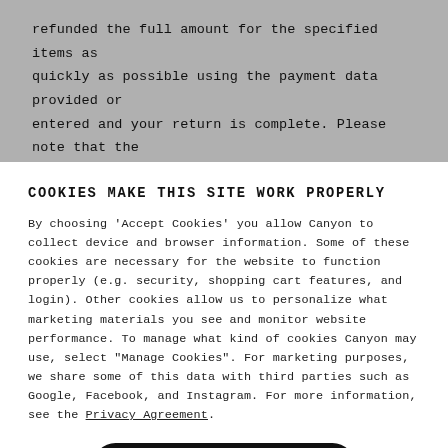refunded the full amount for the specified items as quickly as possible using the payment data provided or entered and your return is complete. Please note that the processing and refund of your return may take 2-5
COOKIES MAKE THIS SITE WORK PROPERLY
By choosing 'Accept Cookies' you allow Canyon to collect device and browser information. Some of these cookies are necessary for the website to function properly (e.g. security, shopping cart features, and login). Other cookies allow us to personalize what marketing materials you see and monitor website performance. To manage what kind of cookies Canyon may use, select "Manage Cookies". For marketing purposes, we share some of this data with third parties such as Google, Facebook, and Instagram. For more information, see the Privacy Agreement.
Accept Cookies
Manage Cookies